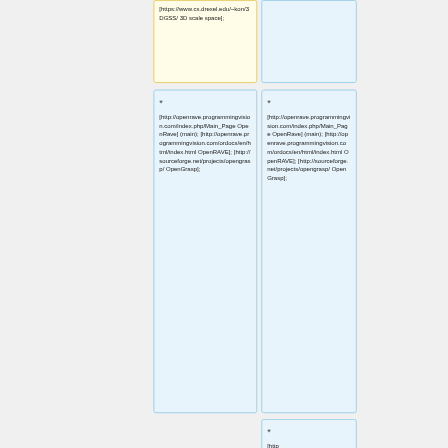[https://www.cs.drexel.edu/~kon/3DGSS/ 3D scale space];
* [http://openrave.programmingvision.com/index.php/Main_Page OpenRave] (main); [http://openrave.programmingvision.com/ordocs/en/html/index.html OpenRAVE]; [http://sourceforge.net/projects/opengrasp/ OpenGrasp];
* [http://openrave.programmingvision.com/index.php/Main_Page OpenRave] (main); [http://openrave.programmingvision.com/ordocs/en/html/index.html OpenRAVE]; [http://sourceforge.net/projects/opengrasp/ OpenGrasp];
*